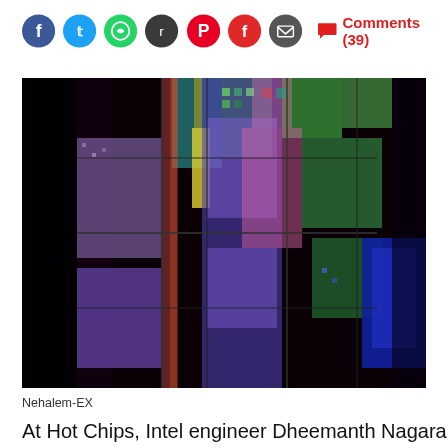[Figure (screenshot): Social media share icons bar: Facebook (blue circle), Twitter (light blue circle), WhatsApp (green circle), Reddit (orange-red circle), Pinterest (red circle), Flipboard (red circle), Email (dark circle), followed by a red speech bubble comment icon and text 'Comments (39)']
[Figure (photo): Close-up photograph of an Intel Nehalem-EX processor silicon wafer die, showing colorful circuit patterns in purple, green, red, yellow and blue under polarized light on a dark background]
Nehalem-EX
At Hot Chips, Intel engineer Dheemanth Nagarai told